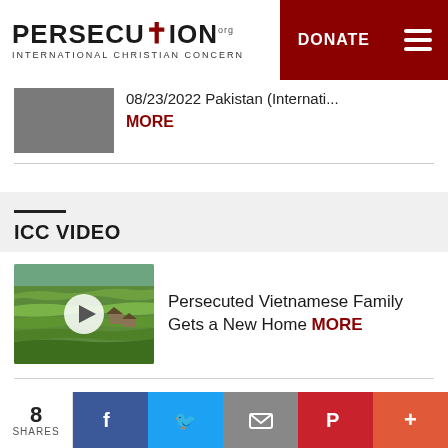[Figure (logo): Persecution.org International Christian Concern logo with cross and globe]
DONATE
08/23/2022 Pakistan (Internati...
MORE
ICC VIDEO
Persecuted Vietnamese Family Gets a New Home MORE
Another Fearless Church Planter in India MORE
8 SHARES